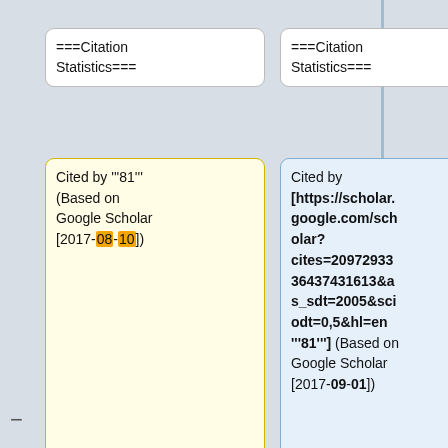[Figure (screenshot): Wikipedia diff view showing two columns of wikitext. Left column has a yellow-highlighted box with 'Cited by 81 (Based on Google Scholar [2017-08-10])'. Right column has a blue-highlighted box with a full Google Scholar URL citation. Below are boxes showing '==Normal Thyroid & Goiter Tissue=='. Line numbers 652 and 658 shown at bottom. A 'Top ↑' navigation button appears on the left sidebar.]
===Citation Statistics===
===Citation Statistics===
Cited by '''81''' (Based on Google Scholar [2017-08-10])
Cited by [https://scholar.google.com/scholar?cites=20972933364374316 13&as_sdt=2005&sciodt=0,5&hl=en "'81"] (Based on Google Scholar [2017-09-01])
==""Normal Thyroid & Goiter Tissue""==
==""Normal Thyroid & Goiter Tissue""==
Line 652:
Line 658:
Top ↑